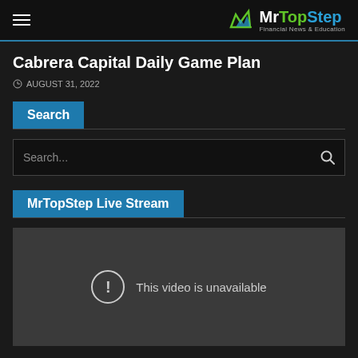MrTopStep Financial News & Education
Cabrera Capital Daily Game Plan
AUGUST 31, 2022
Search
Search...
MrTopStep Live Stream
[Figure (screenshot): Embedded video player showing unavailable video with message: This video is unavailable]